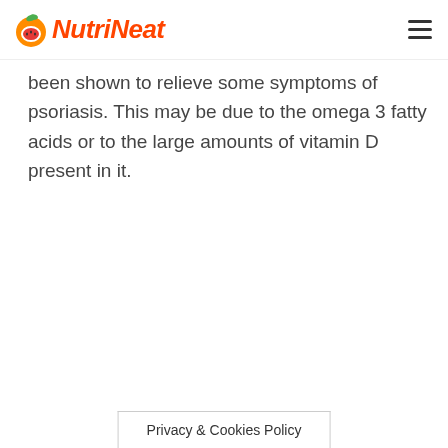NutriNeat
been shown to relieve some symptoms of psoriasis. This may be due to the omega 3 fatty acids or to the large amounts of vitamin D present in it.
Privacy & Cookies Policy